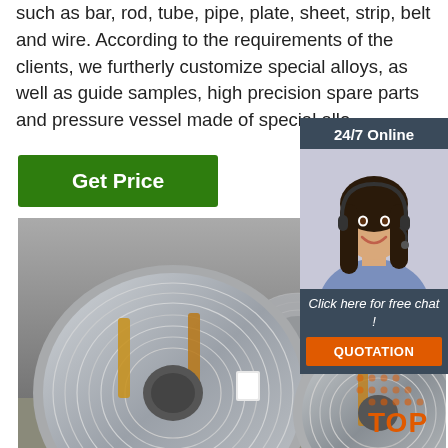such as bar, rod, tube, pipe, plate, sheet, strip, belt and wire. According to the requirements of the clients, we furtherly customize special alloys, as well as guide samples, high precision spare parts and pressure vessel made of special allo
[Figure (other): Green 'Get Price' button]
[Figure (other): 24/7 online chat widget with customer service representative photo, 'Click here for free chat!' text, and orange QUOTATION button]
[Figure (photo): Industrial wire coils/spools made of metal alloy, stored in a warehouse setting]
[Figure (other): Orange 'TOP' badge with dot pattern in bottom right corner]